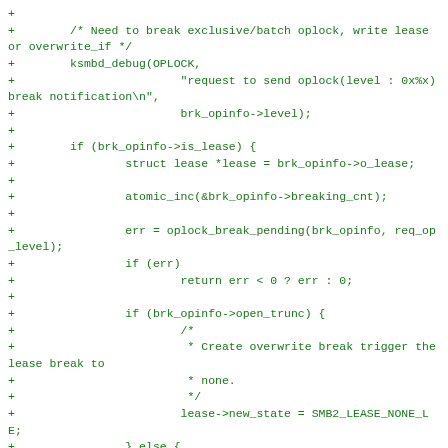+
+        /* Need to break exclusive/batch oplock, write lease or overwrite_if */
+        ksmbd_debug(OPLOCK,
+                        "request to send oplock(level : 0x%x) break notification\n",
+                        brk_opinfo->level);
+
+        if (brk_opinfo->is_lease) {
+                struct lease *lease = brk_opinfo->o_lease;
+
+                atomic_inc(&brk_opinfo->breaking_cnt);
+
+                err = oplock_break_pending(brk_opinfo, req_op_level);
+                if (err)
+                        return err < 0 ? err : 0;
+
+                if (brk_opinfo->open_trunc) {
+                        /*
+                         * Create overwrite break trigger the lease break to
+                         * none.
+                         */
+                        lease->new_state = SMB2_LEASE_NONE_LE;
+                } else {
+                        if (lease->state & SMB2_LEASE_WRITE_CACHING_LE) {